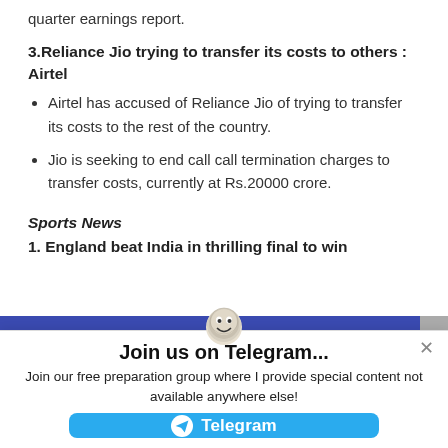quarter earnings report.
3.Reliance Jio trying to transfer its costs to others : Airtel
Airtel has accused of Reliance Jio of trying to transfer its costs to the rest of the country.
Jio is seeking to end call call termination charges to transfer costs, currently at Rs.20000 crore.
Sports News
1. England beat India in thrilling final to win
[Figure (other): Blue banner overlay with mascot character and Telegram promotional popup showing 'Join us on Telegram...' with a button to join]
Join us on Telegram...
Join our free preparation group where I provide special content not available anywhere else!